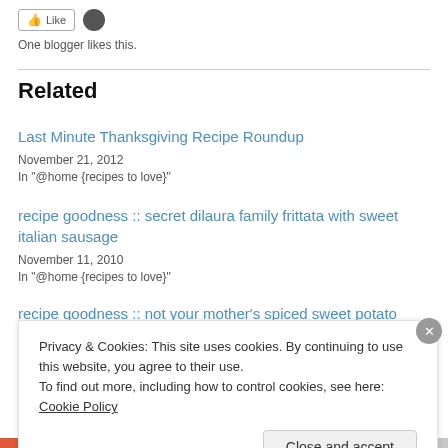One blogger likes this.
Related
Last Minute Thanksgiving Recipe Roundup
November 21, 2012
In "@home {recipes to love}"
recipe goodness :: secret dilaura family frittata with sweet italian sausage
November 11, 2010
In "@home {recipes to love}"
recipe goodness :: not your mother's spiced sweet potato…
Privacy & Cookies: This site uses cookies. By continuing to use this website, you agree to their use.
To find out more, including how to control cookies, see here: Cookie Policy
Close and accept